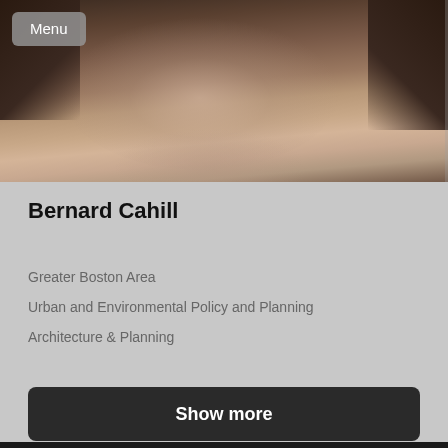[Figure (photo): Close-up photo of a smiling man, partially cropped, with dark hair and casual clothing. A 'Menu' button overlay appears in the top-left corner.]
Bernard Cahill
Greater Boston Area
Urban and Environmental Policy and Planning
Architecture & Planning
Show more